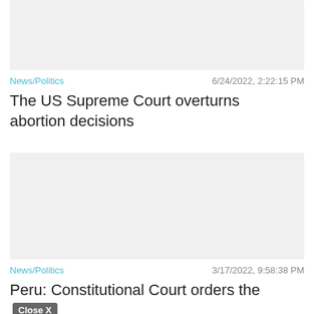[Figure (photo): Gray placeholder image at top of page]
News/Politics   6/24/2022, 2:22:15 PM
The US Supreme Court overturns abortion decisions
[Figure (photo): Gray placeholder image in middle of page]
News/Politics   3/17/2022, 9:58:38 PM
Peru: Constitutional Court orders the release of Alberto Fujimori